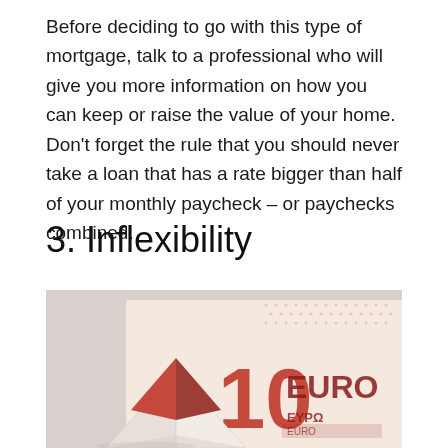Before deciding to go with this type of mortgage, talk to a professional who will give you more information on how you can keep or raise the value of your home. Don't forget the rule that you should never take a loan that has a rate bigger than half of your monthly paycheck – or paychecks combined.
3. Inflexibility
[Figure (photo): A photo of a small white paper house model next to a red roof shape, placed on top of a 10 Euro banknote, on a light grey background.]